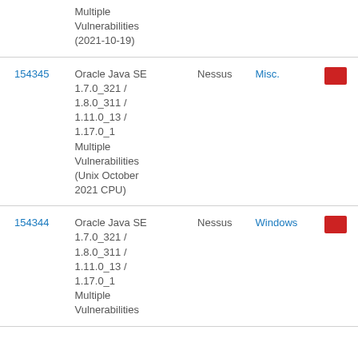| ID | Description | Source | Family | Severity |
| --- | --- | --- | --- | --- |
|  | Multiple Vulnerabilities (2021-10-19) |  |  |  |
| 154345 | Oracle Java SE 1.7.0_321 / 1.8.0_311 / 1.11.0_13 / 1.17.0_1 Multiple Vulnerabilities (Unix October 2021 CPU) | Nessus | Misc. | Critical |
| 154344 | Oracle Java SE 1.7.0_321 / 1.8.0_311 / 1.11.0_13 / 1.17.0_1 Multiple Vulnerabilities | Nessus | Windows | Critical |